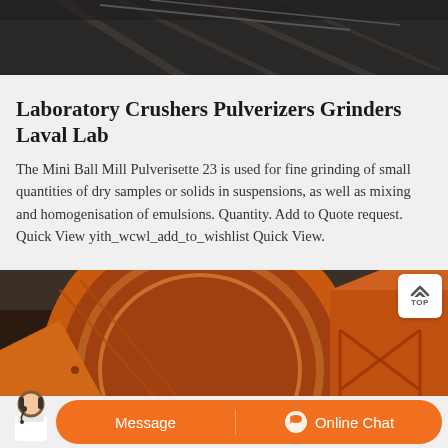[Figure (photo): Dark industrial interior ceiling/overhead shot, partially cropped at top of page]
Laboratory Crushers Pulverizers Grinders Laval Lab
The Mini Ball Mill Pulverisette 23 is used for fine grinding of small quantities of dry samples or solids in suspensions, as well as mixing and homogenisation of emulsions. Quantity. Add to Quote request. Quick View yith_wcwl_add_to_wishlist Quick View.
[Figure (photo): Industrial ball mill machinery in orange/rust color, large cylindrical grinding equipment photographed in an industrial building]
Message  Online Chat